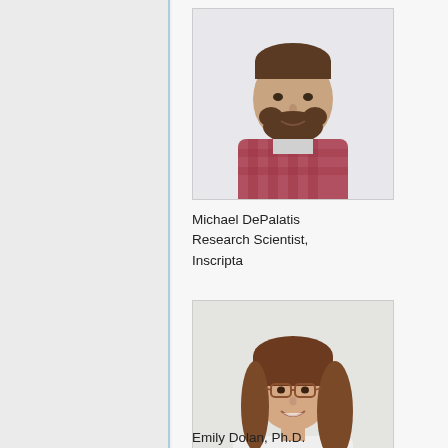[Figure (photo): Headshot photo of Michael DePalatis, a man with a beard wearing a plaid shirt]
Michael DePalatis
Research Scientist,
Inscripta
[Figure (photo): Headshot photo of Emily Dolan, Ph.D., a woman with brown hair and glasses wearing a white top]
Emily Dolan, Ph.D.
Director of Applied